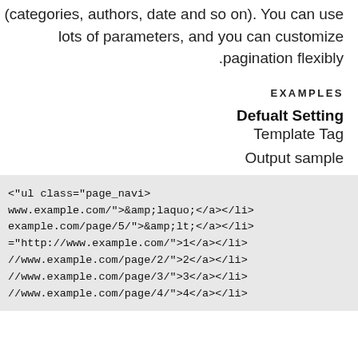(categories, authors, date and so on). You can use lots of parameters, and you can customize pagination flexibly.
EXAMPLES
Defualt Setting
Template Tag
Output sample
[Figure (screenshot): Code block showing HTML output with ul class page_navi and li items with anchor tags for pagination links including laquo, lt, and page numbers 1-4]